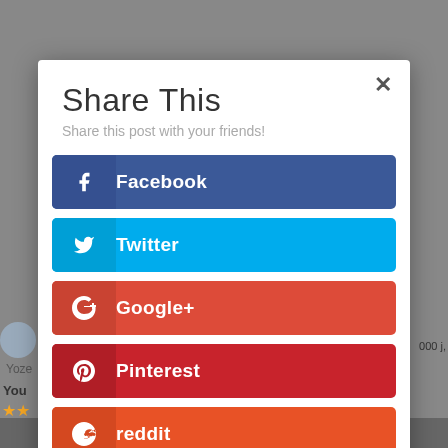Share This
Share this post with your friends!
Facebook
Twitter
Google+
Pinterest
reddit
LinkedIn